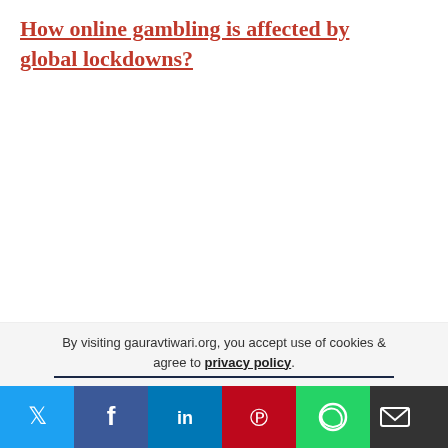How online gambling is affected by global lockdowns?
Previous Post: 5 software tests that can be easily automated
Next Post: Movies that can inspire Indian Students during exams
By visiting gauravtiwari.org, you accept use of cookies & agree to privacy policy.